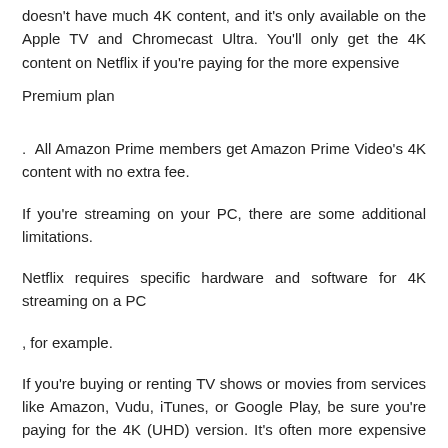doesn't have much 4K content, and it's only available on the Apple TV and Chromecast Ultra. You'll only get the 4K content on Netflix if you're paying for the more expensive
Premium plan
. All Amazon Prime members get Amazon Prime Video's 4K content with no extra fee.
If you're streaming on your PC, there are some additional limitations.
Netflix requires specific hardware and software for 4K streaming on a PC
, for example.
If you're buying or renting TV shows or movies from services like Amazon, Vudu, iTunes, or Google Play, be sure you're paying for the 4K (UHD) version. It's often more expensive than the 1080p (HD) version.